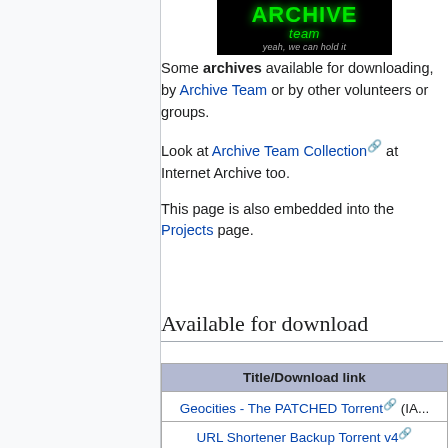[Figure (logo): Archive Team logo - black background with green glowing text 'ARCHIVE team' and tagline 'yeah, we can hold it']
Some archives available for downloading, by Archive Team or by other volunteers or groups.
Look at Archive Team Collection at Internet Archive too.
This page is also embedded into the Projects page.
Available for download
| Title/Download link |
| --- |
| Geocities - The PATCHED Torrent (IA... |
| URL Shortener Backup Torrent v4 |
| URL Shortener Backup Torrent v3 outda... use v4 |